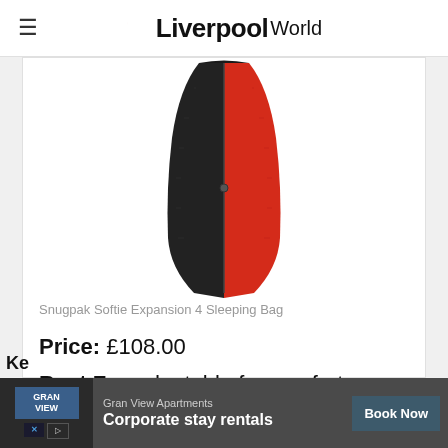Liverpool World
[Figure (photo): Snugpak Softie Expansion 4 Sleeping Bag — black and red mummy-style sleeping bag on white background]
Snugpak Softie Expansion 4 Sleeping Bag
Price: £108.00
Best For: adaptable for comfort regardless of the temperature
[Figure (other): Star rating: 4 filled stars out of 5, with rating label 4/5]
Ke
[Figure (other): Advertisement banner: Gran View Apartments — Corporate stay rentals — Book Now button]